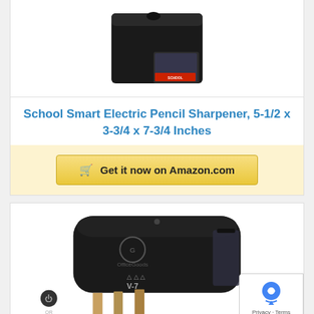[Figure (photo): Black School Smart Electric Pencil Sharpener product photo from above]
School Smart Electric Pencil Sharpener, 5-1/2 x 3-3/4 x 7-3/4 Inches
[Figure (other): Yellow Amazon buy button with shopping cart icon reading 'Get it now on Amazon.com']
[Figure (photo): Black OfficeGoods V-7 electric pencil sharpener with pencils shown below it]
[Figure (logo): Google privacy badge in lower right corner]